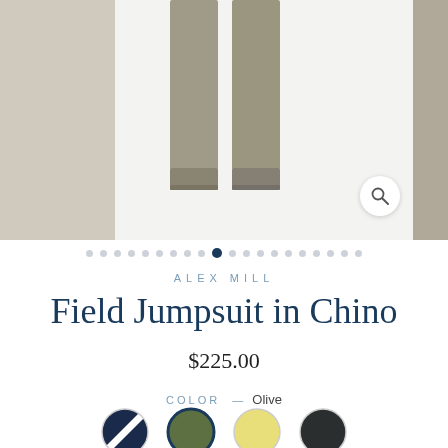[Figure (photo): Product photo of khaki/olive chino pants laid flat, shown from the waist down, displayed on a light background. Left and right side panels visible. Magnify button in lower right of image area.]
• • • • • • • • • • (active dot) • • • • • • • • • •
ALEX MILL
Field Jumpsuit in Chino
$225.00
COLOR  — Olive
[Figure (illustration): Four color swatches: navy/white diagonal stripe, olive green (selected with blue border), yellow, black]
SIZE